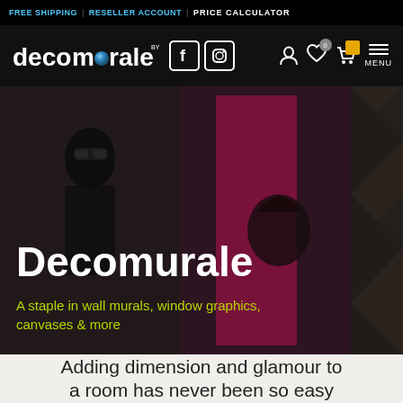FREE SHIPPING | RESELLER ACCOUNT | PRICE CALCULATOR
[Figure (logo): Decomurale logo with stylized blue dot in the word 'decomurale', followed by Facebook and Instagram icons, user icon, wishlist icon with badge 0, cart icon, and MENU hamburger icon]
[Figure (photo): Hero banner showing three panels: fashion model with sunglasses in dark room, wall mural graphic of woman from Bob Marley-style art in pink-framed mirror setting, and geometric triangle-patterned wall in a moody room]
Decomurale
A staple in wall murals, window graphics, canvases & more
Adding dimension and glamour to a room has never been so easy